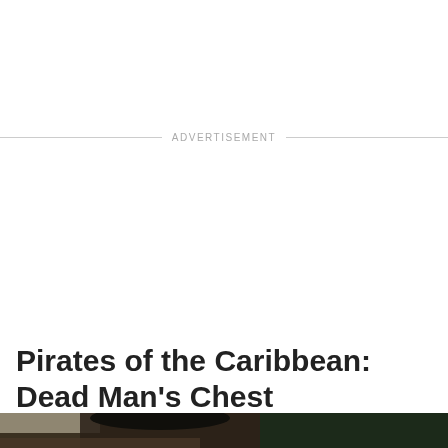ADVERTISEMENT
Pirates of the Caribbean: Dead Man's Chest
[Figure (photo): Movie still from Pirates of the Caribbean: Dead Man's Chest showing a heavily costumed pirate character with barnacle-encrusted hat in a jungle/forest setting]